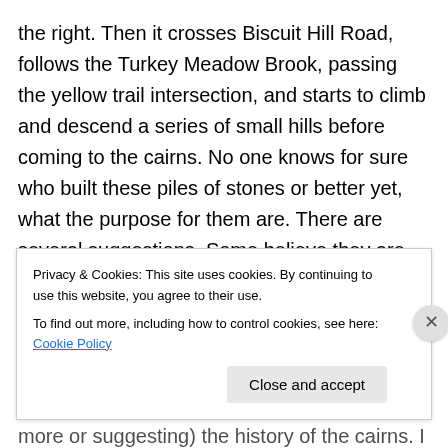the right. Then it crosses Biscuit Hill Road, follows the Turkey Meadow Brook, passing the yellow trail intersection, and starts to climb and descend a series of small hills before coming to the cairns. No one knows for sure who built these piles of stones or better yet, what the purpose for them are. There are several suggestions. Some believe they are Native American, others suggest pre-Columbus age explorers using them as markers. Regardless, there are about a dozen or more of them along this stretch. There is also a sign here explaining (or more or suggesting) the history of the cairns. I then
Privacy & Cookies: This site uses cookies. By continuing to use this website, you agree to their use.
To find out more, including how to control cookies, see here: Cookie Policy